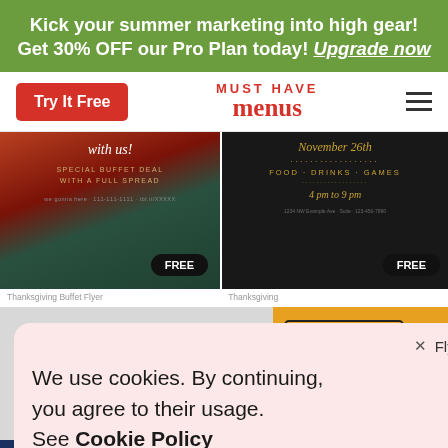Kick your summer marketing into high gear! Get 30% OFF our Pro Plan today! Upgrade now
[Figure (screenshot): Navigation bar with Try It Free button, Must Have Menus logo, and hamburger menu icon]
[Figure (screenshot): Two restaurant/event flyer templates: left shows autumn buffet deal with FREE badge, right shows November 26th event with food drinks games FREE badge]
[Figure (screenshot): Cookie consent popup with close X button, Flyer label, cookie policy message, and Agree button. Background shows partial third template thumbnail (yellow/orange ING, hours listing SAT/SUN CLOSED)]